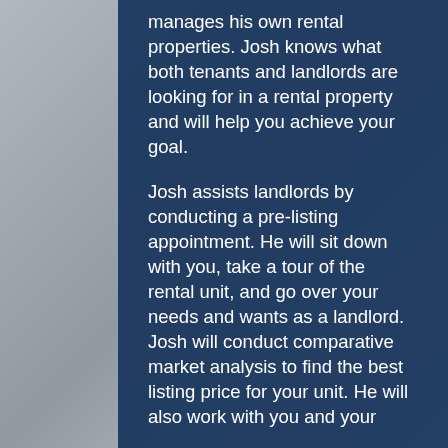manages his own rental properties. Josh knows what both tenants and landlords are looking for in a rental property and will help you achieve your goal.
Josh assists landlords by conducting a pre-listing appointment. He will sit down with you, take a tour of the rental unit, and go over your needs and wants as a landlord. Josh will conduct comparative market analysis to find the best listing price for your unit. He will also work with you and your